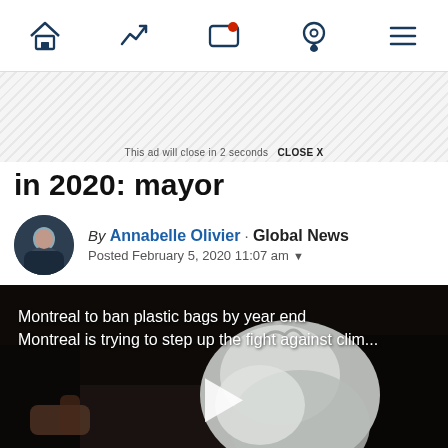[Figure (screenshot): Website navigation bar with home, trending, live TV, location, and menu icons in dark navy blue]
[Figure (screenshot): Ad banner with diagonal stripe pattern and 'This ad will close in 2 seconds CLOSE X' text]
in 2020: mayor
By Annabelle Olivier · Global News
Posted February 5, 2020 11:07 am
[Figure (screenshot): Video thumbnail showing plastic bags in a dark store setting with overlay text: 'Montreal to ban plastic bags by year end / Montreal is trying to step up the fight against clim...' and a play button. Global News watermark in bottom right.]